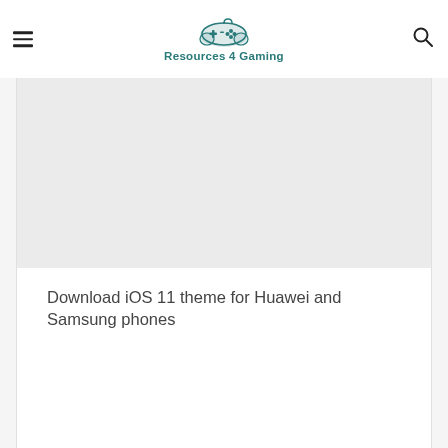Resources 4 Gaming
[Figure (screenshot): Gray placeholder image area for article thumbnail]
Download iOS 11 theme for Huawei and Samsung phones